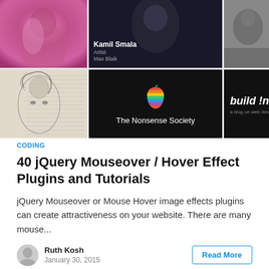[Figure (screenshot): A 2x3 grid of website/artwork screenshots. Top row: abstract female figure with pink/magenta background; dark portrait with 'Kamil Smala / Artist / Max Blaik' overlay; black and white close-up face. Bottom row: pencil sketch of female face over handwritten text; 'The Nonsense Society' logo with rainbow apple-style icon on dark background; 'build !nterne' text on dark background.]
CODING
40 jQuery Mouseover / Hover Effect Plugins and Tutorials
jQuery Mouseover or Mouse Hover image effects plugins can create attractiveness on your website. There are many mouse...
Ruth Kosh
January 30, 2015
Read More